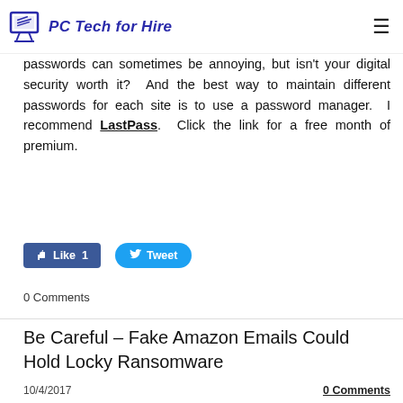PC Tech for Hire
passwords can sometimes be annoying, but isn't your digital security worth it?  And the best way to maintain different passwords for each site is to use a password manager.  I recommend LastPass.  Click the link for a free month of premium.
[Figure (other): Facebook Like button (Like 1) and Twitter Tweet button]
0 Comments
Be Careful – Fake Amazon Emails Could Hold Locky Ransomware
10/4/2017    0 Comments
For a time, it seemed we had—